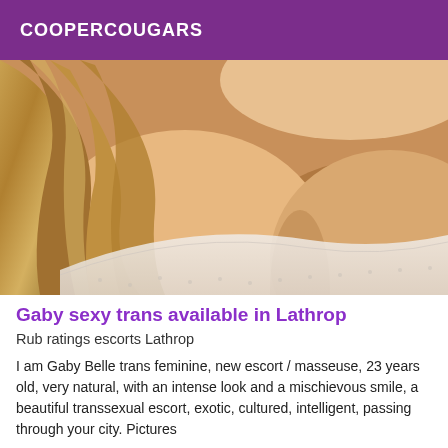COOPERCOUGARS
[Figure (photo): Close-up photo of a woman with long blonde hair wearing a white lace bra]
Gaby sexy trans available in Lathrop
Rub ratings escorts Lathrop
I am Gaby Belle trans feminine, new escort / masseuse, 23 years old, very natural, with an intense look and a mischievous smile, a beautiful transsexual escort, exotic, cultured, intelligent, passing through your city. Pictures